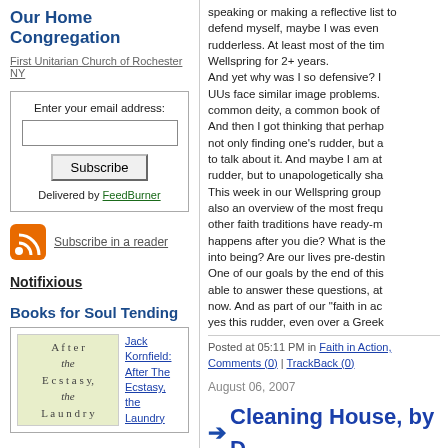Our Home Congregation
First Unitarian Church of Rochester NY
Enter your email address: [input] Subscribe Delivered by FeedBurner
Subscribe in a reader
Notifixious
Books for Soul Tending
[Figure (illustration): Book cover: After the Ecstasy, the Laundry]
Jack Kornfield: After The Ecstasy, the Laundry
speaking or making a reflective list to defend myself, maybe I was even rudderless. At least most of the time. Wellspring for 2+ years. And yet why was I so defensive? I... UUs face similar image problems. common deity, a common book of... And then I got thinking that perhaps not only finding one’s rudder, but a to talk about it. And maybe I am at rudder, but to unapologetically sha... This week in our Wellspring group also an overview of the most frequ other faith traditions have ready-m happens after you die? What is the into being? Are our lives pre-destin One of our goals by the end of this able to answer these questions, at now. And as part of our “faith in ac yes this rudder, even over a Greek
Posted at 05:11 PM in Faith in Action, Comments (0) | TrackBack (0)
August 06, 2007
→ Cleaning House, by D
Our eighteen-year-old granddaught time she’s come by herself since s excited. I wanted to get her room r